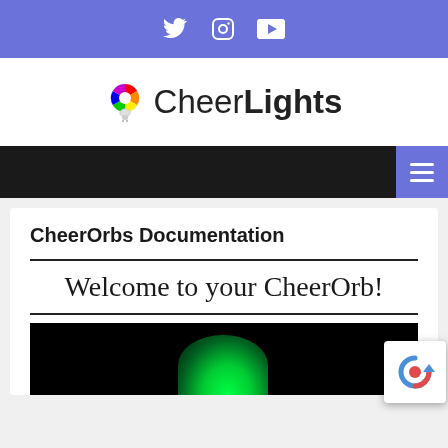Twitter Instagram YouTube (social icons)
[Figure (logo): CheerLights logo with colorful wheel icon and text 'CheerLights' with bold 'Lights']
[Figure (screenshot): Dark navigation bar with hamburger menu button on right side (blue background)]
CheerOrbs Documentation
Welcome to your CheerOrb!
[Figure (photo): Dark/black background with green glowing orb shape at the bottom]